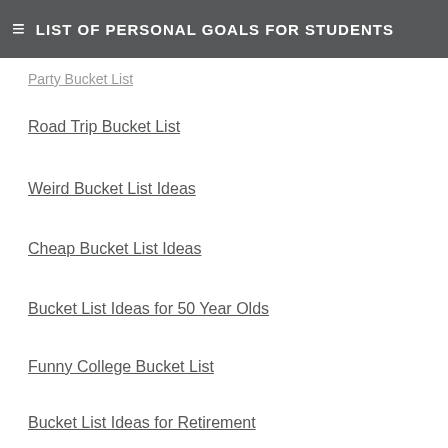LIST OF PERSONAL GOALS FOR STUDENTS
Party Bucket List
Road Trip Bucket List
Weird Bucket List Ideas
Cheap Bucket List Ideas
Bucket List Ideas for 50 Year Olds
Funny College Bucket List
Bucket List Ideas for Retirement
Most Common Bucket List Items
Christmas Bucket List